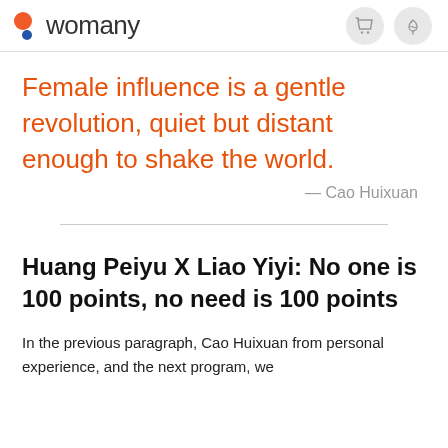womany
Female influence is a gentle revolution, quiet but distant enough to shake the world.
— Cao Huixuan
Huang Peiyu X Liao Yiyi: No one is 100 points, no need is 100 points
In the previous paragraph, Cao Huixuan from personal experience, and the next program, we